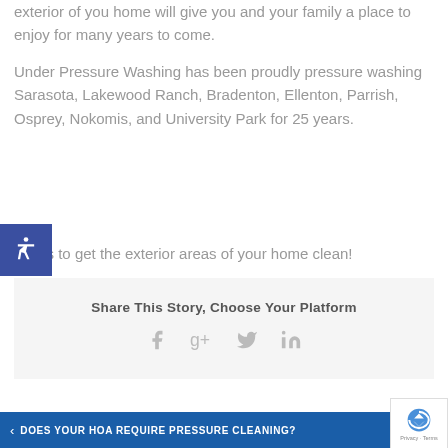exterior of you home will give you and your family a place to enjoy for many years to come.
Under Pressure Washing has been proudly pressure washing Sarasota, Lakewood Ranch, Bradenton, Ellenton, Parrish, Osprey, Nokomis, and University Park for 25 years.
act us to get the exterior areas of your home clean!
[Figure (other): Blue accessibility wheelchair icon button overlay on left side]
Share This Story, Choose Your Platform
[Figure (other): Social media icons: Facebook, Google+, Twitter, LinkedIn in gray]
[Figure (other): reCAPTCHA badge bottom right corner]
< DOES YOUR HOA REQUIRE PRESSURE CLEANING?